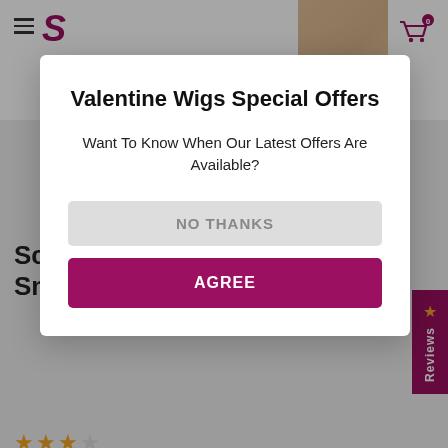[Figure (screenshot): Website header with hamburger menu, brand logo (stylized S), and shopping cart icon with badge showing 0]
Scarl
Smar
[Figure (other): Three gold/yellow star rating icons]
Save 15
JON RENAU
[Figure (screenshot): Modal popup overlay with Valentine Wigs Special Offers promotional dialog]
Valentine Wigs Special Offers
Want To Know When Our Latest Offers Are Available?
NO THANKS
AGREE
Choose Your Jon Renau Colour:
[Figure (photo): Four circular hair colour swatches showing different shades: dark black/brown, medium grey-brown, dark auburn/purple, and light grey-brown]